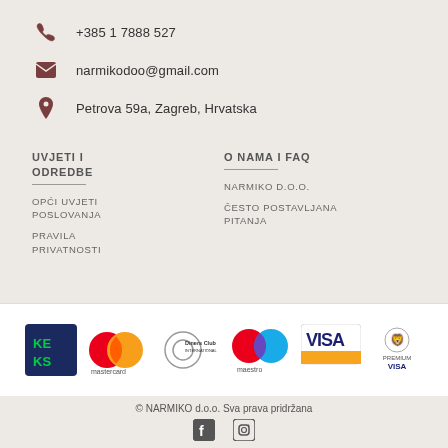+385 1 7888 527
narmikodoo@gmail.com
Petrova 59a, Zagreb, Hrvatska
UVJETI I ODREDBE
O NAMA I FAQ
OPĆI UVJETI POSLOVANJA
PRAVILA PRIVATNOSTI
NARMIKO D.O.O.
ČESTO POSTAVLJANA PITANJA
[Figure (logo): Payment method logos: KEKS, Mastercard, Diners Club International, Maestro, VISA, Premium VISA]
© NARMIKO d.o.o. Sva prava pridržana
[Figure (logo): Facebook and Instagram social media icons]